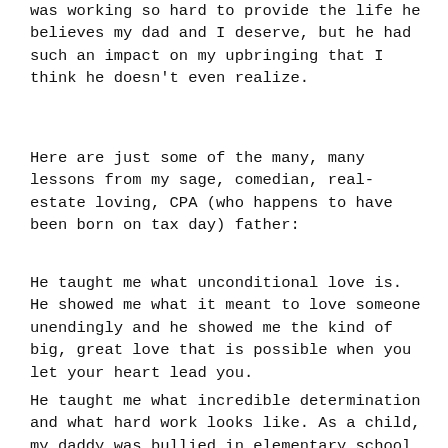was working so hard to provide the life he believes my dad and I deserve, but he had such an impact on my upbringing that I think he doesn't even realize.
Here are just some of the many, many lessons from my sage, comedian, real-estate loving, CPA (who happens to have been born on tax day) father:
He taught me what unconditional love is. He showed me what it meant to love someone unendingly and he showed me the kind of big, great love that is possible when you let your heart lead you.
He taught me what incredible determination and what hard work looks like. As a child, my daddy was bullied in elementary school, middle school, high school and beyond, yet he didn't let that